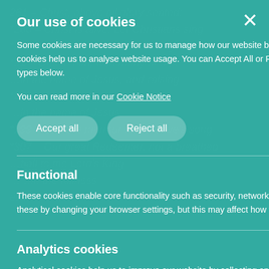Our use of cookies
Some cookies are necessary for us to manage how our website behaves while other optional, or non-necessary, cookies help us to analyse website usage. You can Accept All or Reject All optional cookies or control individual cookie types below.
You can read more in our Cookie Notice
Accept all
Reject all
Functional
These cookies enable core functionality such as security, network management, and accessibility. You may disable these by changing your browser settings, but this may affect how the website functions.
Analytics cookies
Analytical cookies help us to improve our website by collecting and reporting information on its usage.